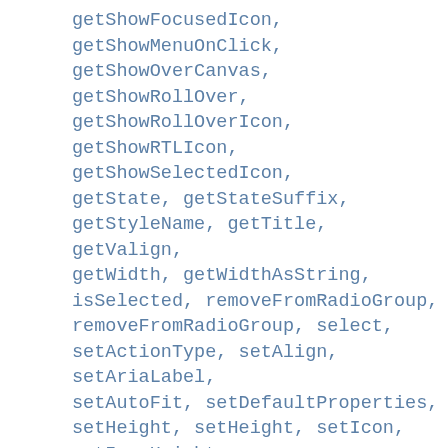getShowFocusedIcon,
getShowMenuOnClick, getShowOverCanvas,
getShowRollOver, getShowRollOverIcon,
getShowRTLIcon, getShowSelectedIcon,
getState, getStateSuffix,
getStyleName, getTitle, getValign,
getWidth, getWidthAsString,
isSelected, removeFromRadioGroup,
removeFromRadioGroup, select,
setActionType, setAlign, setAriaLabel,
setAutoFit, setDefaultProperties,
setHeight, setHeight, setIcon,
setIconHeight, setIconOrientation,
setIconSize, setIconStyle,
setIconWidth, setLabelHPad,
setLabelVPad, setLogicalStructure,
setOverCanvasConstructor,
setRadioGroup, setRedrawOnStateChange,
setSelected, setShowDisabled,
setShowDisabledIcon, setShowDown,